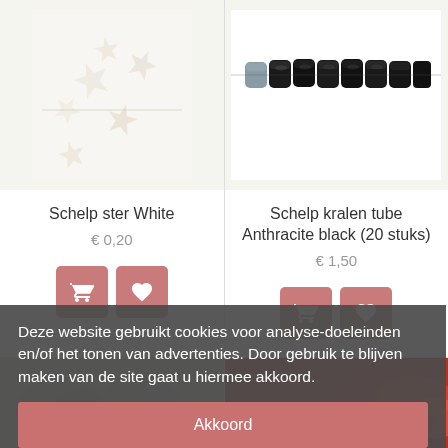[Figure (photo): Star-shaped white shell beads on a string, cream/white color on white background]
Schelp ster White
€ 0,20
[Figure (photo): Dark anthracite black tube-shaped shell beads on a string, closely packed]
Schelp kralen tube Anthracite black (20 stuks)
€ 1,50
Deze website gebruikt cookies voor analyse-doeleinden en/of het tonen van advertenties. Door gebruik te blijven maken van de site gaat u hiermee akkoord.
Akkoord